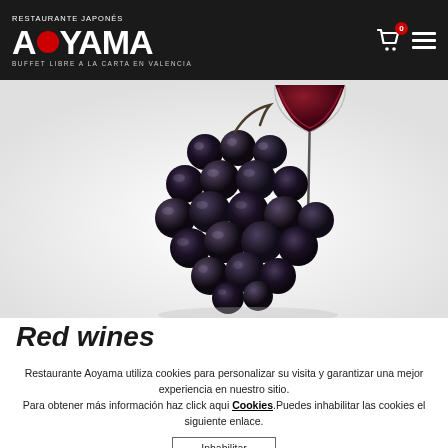RESTAURANTE JAPONÉS AOYAMA BUFFET LIBRE A LA CARTA EN VALENCIA
[Figure (photo): Dark purple/black grapes bunch with a red wine glass in the background, on white background]
Red wines
Restaurante Aoyama utiliza cookies para personalizar su visita y garantizar una mejor experiencia en nuestro sitio. Para obtener más información haz click aqui Cookies.Puedes inhabilitar las cookies el siguiente enlace.
Inhabilitar
Entendido